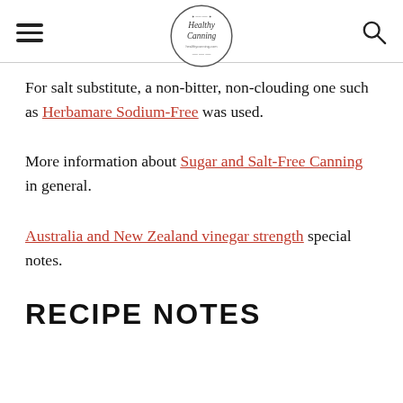Healthy Canning healthycanning.com
For salt substitute, a non-bitter, non-clouding one such as Herbamare Sodium-Free was used.
More information about Sugar and Salt-Free Canning in general.
Australia and New Zealand vinegar strength special notes.
RECIPE NOTES